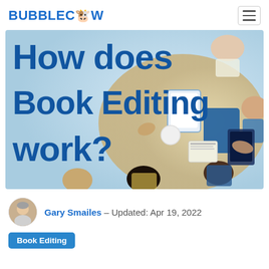BUBBLECOW
[Figure (photo): Hero image with text overlay reading 'How does Book Editing work?' on a blue-tinted background with people sitting around a table with tablets and books, viewed from above.]
Gary Smailes – Updated: Apr 19, 2022
Book Editing